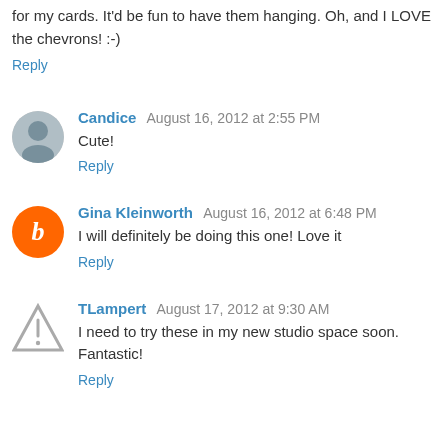for my cards. It'd be fun to have them hanging. Oh, and I LOVE the chevrons! :-)
Reply
Candice  August 16, 2012 at 2:55 PM
Cute!
Reply
Gina Kleinworth  August 16, 2012 at 6:48 PM
I will definitely be doing this one! Love it
Reply
TLampert  August 17, 2012 at 9:30 AM
I need to try these in my new studio space soon. Fantastic!
Reply